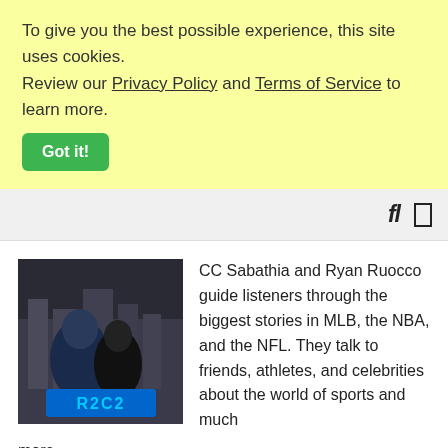To give you the best possible experience, this site uses cookies. Review our Privacy Policy and Terms of Service to learn more.
Got it!
fl  [search and menu icons]
[Figure (photo): Photo of CC Sabathia and Ryan Ruocco with R2C2 podcast logo at bottom]
CC Sabathia and Ryan Ruocco guide listeners through the biggest stories in MLB, the NBA, and the NFL. They talk to friends, athletes, and celebrities about the world of sports and much more.
[Figure (photo): Thumbnail image for second podcast, brownish/pinkish color]
Spend the afternoon with the boys guilt free. Hang out from 4-7pm with Hayes, Noodles and